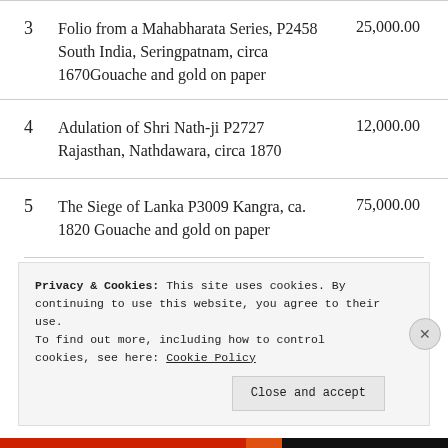3   Folio from a Mahabharata Series, P2458   25,000.00
South India, Seringpatnam, circa 1670Gouache and gold on paper
4   Adulation of Shri Nath-ji P2727   12,000.00
Rajasthan, Nathdawara, circa 1870
5   The Siege of Lanka P3009 Kangra, ca.   75,000.00
1820 Gouache and gold on paper
Privacy & Cookies: This site uses cookies. By continuing to use this website, you agree to their use.
To find out more, including how to control cookies, see here: Cookie Policy
Close and accept